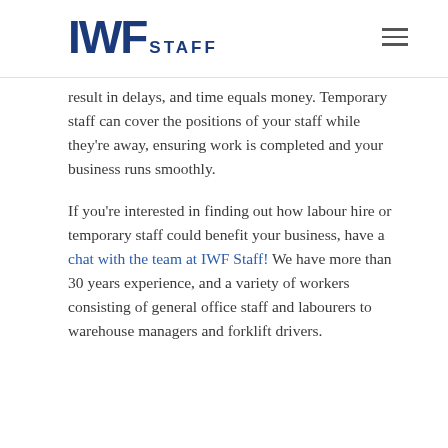IWF STAFF
result in delays, and time equals money. Temporary staff can cover the positions of your staff while they're away, ensuring work is completed and your business runs smoothly.
If you're interested in finding out how labour hire or temporary staff could benefit your business, have a chat with the team at IWF Staff! We have more than 30 years experience, and a variety of workers consisting of general office staff and labourers to warehouse managers and forklift drivers.